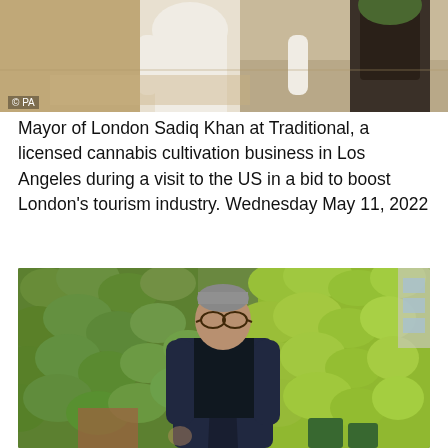[Figure (photo): Top portion of a photo showing a person in a white shirt walking, with a dark cylindrical planter visible on the right, indoors/outdoors setting with warm lighting]
© PA
Mayor of London Sadiq Khan at Traditional, a licensed cannabis cultivation business in Los Angeles during a visit to the US in a bid to boost London's tourism industry. Wednesday May 11, 2022
[Figure (photo): A middle-aged man with grey-streaked hair and glasses wearing a dark navy jacket over a black t-shirt, walking outdoors in front of a lush green ivy-covered wall, with a brick structure and green bins visible in the background]